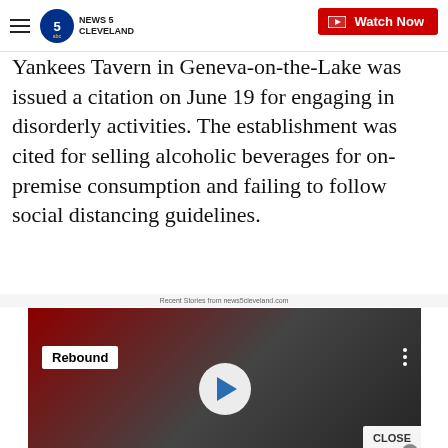News 5 Cleveland — Watch Now
Yankees Tavern in Geneva-on-the-Lake was issued a citation on June 19 for engaging in disorderly activities. The establishment was cited for selling alcoholic beverages for on-premise consumption and failing to follow social distancing guidelines.
Recent Stories from news5cleveland.com
[Figure (screenshot): Video player showing a man in a dark green shirt in front of a red background, with a 'Rebound' badge overlay, a play button in the center, and a CLOSE button with an X in the lower right corner.]